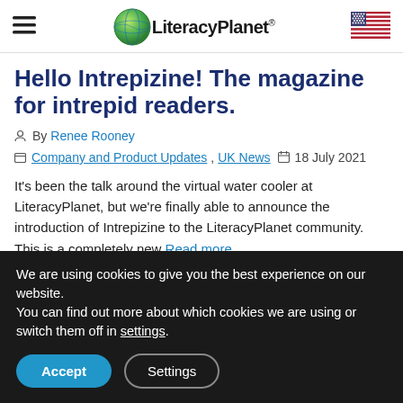LiteracyPlanet®
Hello Intrepizine! The magazine for intrepid readers.
By Renee Rooney
Company and Product Updates, UK News · 18 July 2021
It's been the talk around the virtual water cooler at LiteracyPlanet, but we're finally able to announce the introduction of Intrepizine to the LiteracyPlanet community. This is a completely new Read more...
We are using cookies to give you the best experience on our website.
You can find out more about which cookies we are using or switch them off in settings.